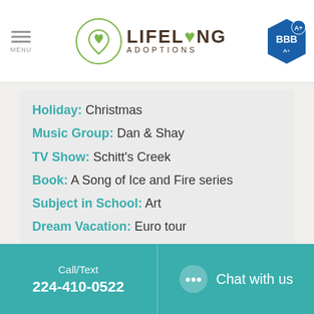MENU | LIFELONG ADOPTIONS | BBB A+
Holiday: Christmas
Music Group: Dan & Shay
TV Show: Schitt's Creek
Book: A Song of Ice and Fire series
Subject in School: Art
Dream Vacation: Euro tour
[Figure (photo): Partial view of a circular photo at the bottom of the page, showing a person wearing a red top, partially cropped]
Call/Text 224-410-0522 | Chat with us